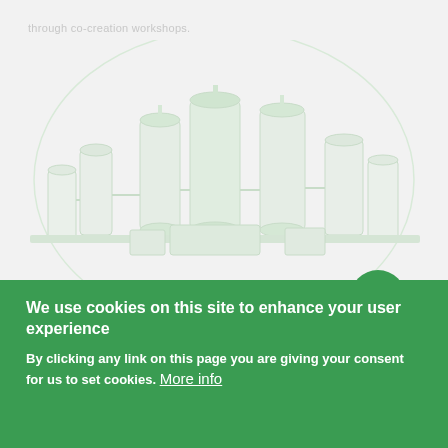through co-creation workshops.
[Figure (illustration): Faded light green illustration of industrial containers, tanks, and machinery arranged in a cityscape-like composition, with a circular arch in the background. A green circular button with an upward arrow is positioned in the lower right area of the illustration.]
We use cookies on this site to enhance your user experience
By clicking any link on this page you are giving your consent for us to set cookies. More info